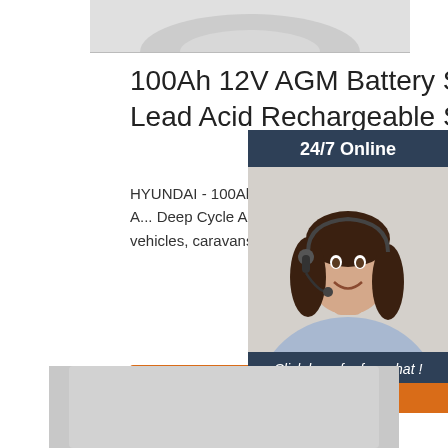[Figure (photo): Top portion of a product image (battery), cropped]
100Ah 12V AGM Battery Sealed Lead Acid Rechargeable SL...
HYUNDAI - 100Ah 12V AGM Battery at CrazySales.com.au - This portable HYUNDAI Deep Cycle AUTOMOTIVE Battery provides off-the-grid power supply for 4WD vehicles, caravans, campers, trailers, motorhomes, etc.
[Figure (photo): Sidebar with 24/7 Online support agent photo, 'Click here for free chat!' text and QUOTATION button]
[Figure (photo): Get Price orange button]
[Figure (photo): Bottom portion showing top edge of product (battery) image in gray]